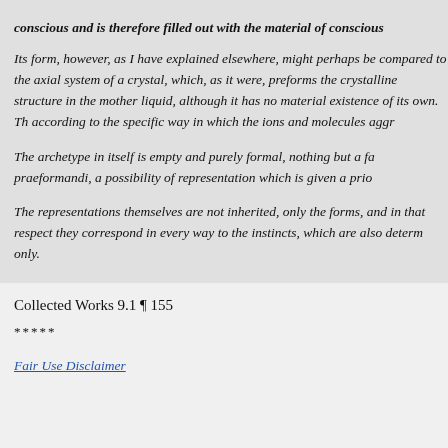conscious and is therefore filled out with the material of conscious
Its form, however, as I have explained elsewhere, might perhaps be compared to the axial system of a crystal, which, as it were, preforms the crystalline structure in the mother liquid, although it has no material existence of its own. This first appears according to the specific way in which the ions and molecules aggr
The archetype in itself is empty and purely formal, nothing but a fa praeformandi, a possibility of representation which is given a prio
The representations themselves are not inherited, only the forms, and in that respect they correspond in every way to the instincts, which are also determ only.
Collected Works 9.1 ¶ 155
*****
Fair Use Disclaimer